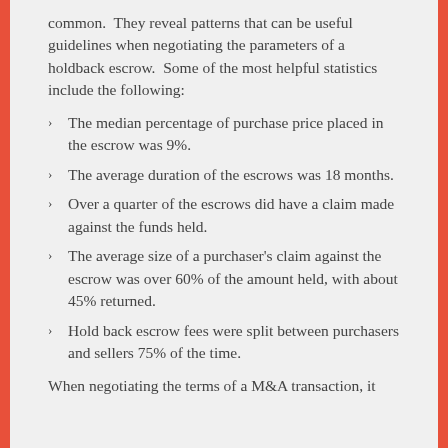common.  They reveal patterns that can be useful guidelines when negotiating the parameters of a holdback escrow.  Some of the most helpful statistics include the following:
The median percentage of purchase price placed in the escrow was 9%.
The average duration of the escrows was 18 months.
Over a quarter of the escrows did have a claim made against the funds held.
The average size of a purchaser's claim against the escrow was over 60% of the amount held, with about 45% returned.
Hold back escrow fees were split between purchasers and sellers 75% of the time.
When negotiating the terms of a M&A transaction, it